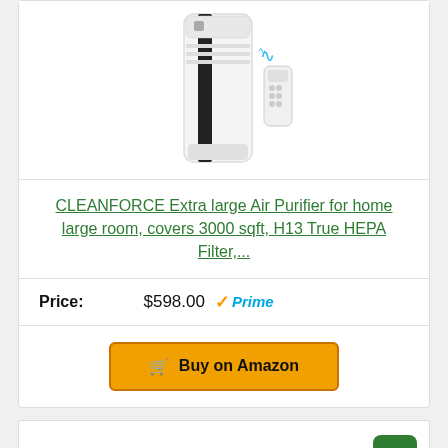[Figure (photo): CLEANFORCE air purifier product image - tall white tower air purifier with remote control and WiFi symbol]
CLEANFORCE Extra large Air Purifier for home large room, covers 3000 sqft, H13 True HEPA Filter,...
Price: $598.00 ✓Prime
🛒 Buy on Amazon
Bestseller No. 4